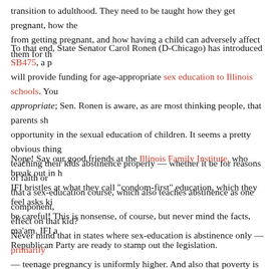transition to adulthood. They need to be taught how they get pregnant, how the from getting pregnant, and how having a child can adversely affect them for th
To that end, State Senator Carol Ronen (D-Chicago) has introduced SB475, a p will provide funding for age-appropriate sex education to Illinois schools. You appropriate; Sen. Ronen is aware, as are most thinking people, that parents sh opportunity in the sexual education of children. It seems a pretty obvious thing teaching their kids abstinence properly — whether it be for reasons of faith or that a sex-education course, which also teaches abstinence as one component, effect on that kid?
Nope! Say our good friends at the Illinois Family Institute, who break out in h IFI bristles at what they call "condom-first" education, which they feel asks ki be careful! This is nonsense, of course, but never mind the facts, ma'am. IFI a Republican Party are ready to stamp out the legislation.
Never mind that in states where sex-education is abstinence only — primarily — teenage pregnancy is uniformly higher. And also that poverty is higher in th among women is astronomically higher. And that divorce is an epidemic in the